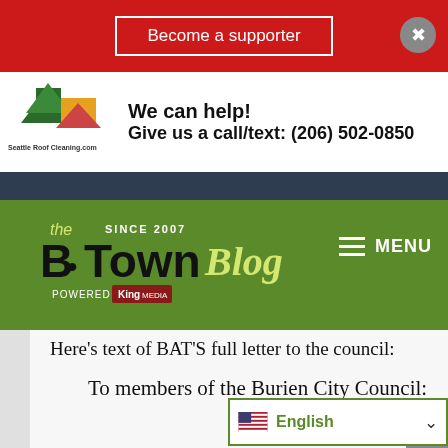[Figure (screenshot): Red banner with 'Become a supporter' button and close X button]
[Figure (logo): Seattle Roof Cleaning advertisement with logo and phone number (206) 502-0850]
[Figure (logo): B-Town Blog logo - Since 2007, Powered by King Media, with MENU hamburger icon on green background]
Here’s text of BAT’S full letter to the council:
To members of the Burien City Council:
Attached is a brief overview of a proposal we are submitting for your consideration. This is a short-term plan for the immediate future. It is our hope that this will allow for the rem...